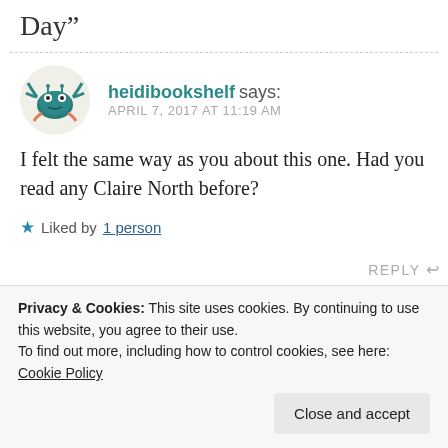Day”
heidibookshelf says:
APRIL 7, 2017 AT 11:19 AM
[Figure (illustration): Circular avatar image of a cartoon crab illustration on a light background]
I felt the same way as you about this one. Had you read any Claire North before?
★ Liked by 1 person
REPLY ←
Privacy & Cookies: This site uses cookies. By continuing to use this website, you agree to their use.
To find out more, including how to control cookies, see here: Cookie Policy
Close and accept